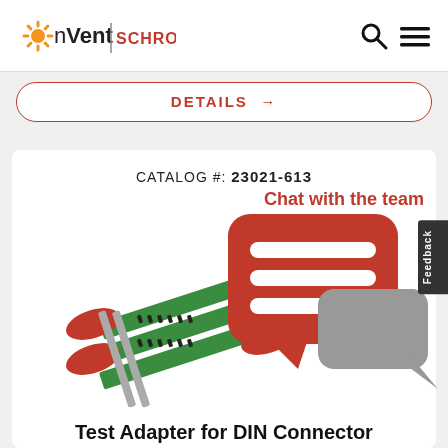nVent | SCHROFF
DETAILS →
CATALOG #: 23021-613
Chat with the team
[Figure (photo): Test Adapter for DIN Connector product photo showing a green circuit board connector with red handles, alongside a red chat bubble icon and grey speech bubble icon]
Test Adapter for DIN Connector